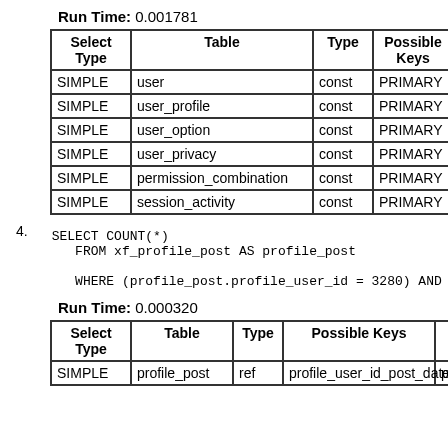Run Time: 0.001781
| Select Type | Table | Type | Possible Keys | Key |
| --- | --- | --- | --- | --- |
| SIMPLE | user | const | PRIMARY | PRIMA… |
| SIMPLE | user_profile | const | PRIMARY | PRIMA… |
| SIMPLE | user_option | const | PRIMARY | PRIMA… |
| SIMPLE | user_privacy | const | PRIMARY | PRIMA… |
| SIMPLE | permission_combination | const | PRIMARY | PRIMA… |
| SIMPLE | session_activity | const | PRIMARY | PRIMA… |
4. SELECT COUNT(*)
   FROM xf_profile_post AS profile_post

   WHERE (profile_post.profile_user_id = 3280) AND (pre…
Run Time: 0.000320
| Select Type | Table | Type | Possible Keys | Key |
| --- | --- | --- | --- | --- |
| SIMPLE | profile_post | ref | profile_user_id_post_date | profil… |